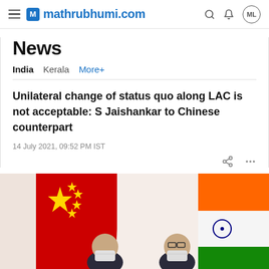mathrubhumi.com
News
India   Kerala   More+
Unilateral change of status quo along LAC is not acceptable: S Jaishankar to Chinese counterpart
14 July 2021, 09:52 PM IST
[Figure (photo): Two people in masks standing in front of Chinese and Indian flags]